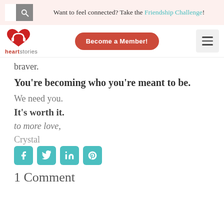Want to feel connected? Take the Friendship Challenge!
[Figure (logo): Heartstories logo with red heart icon and text 'heartstories']
braver.
You're becoming who you're meant to be.
We need you.
It's worth it.
to more love,
Crystal
[Figure (other): Social share icons: Facebook, Twitter, LinkedIn, Pinterest]
1 Comment